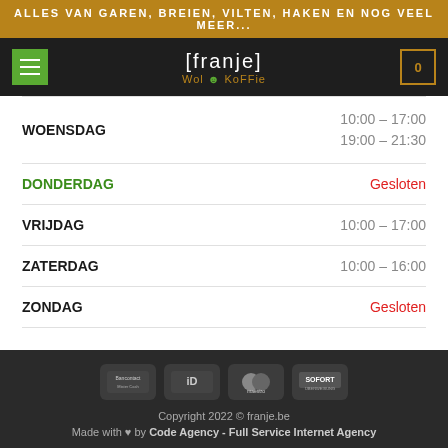ALLES VAN GAREN, BREIEN, VILTEN, HAKEN EN NOG VEEL MEER...
[Figure (logo): Franje Wol & Koffie logo with green menu button and cart icon in dark header bar]
| Dag | Uren |
| --- | --- |
| WOENSDAG | 10:00 - 17:00 / 19:00 - 21:30 |
| DONDERDAG | Gesloten |
| VRIJDAG | 10:00 - 17:00 |
| ZATERDAG | 10:00 - 16:00 |
| ZONDAG | Gesloten |
[Figure (logo): Payment method icons: Bancontact/Mister Cash, iDeal, Maestro, SOFORT Überweisung]
Copyright 2022 © franje.be
Made with ♥ by Code Agency - Full Service Internet Agency